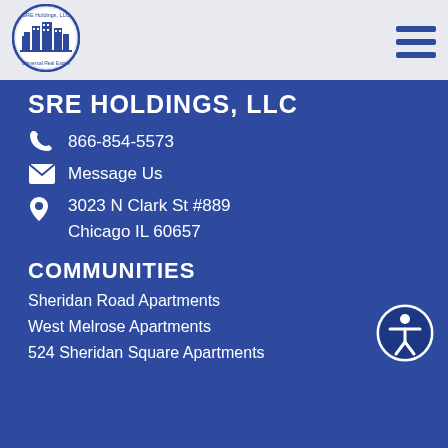[Figure (logo): SRE Holdings LLC Universal Real Estate circular logo with city skyline]
SRE Holdings, LLC — navigation header with hamburger menu
SRE HOLDINGS, LLC
866-854-5573
Message Us
3023 N Clark St #889
Chicago IL 60657
COMMUNITIES
Sheridan Road Apartments
West Melrose Apartments
524 Sheridan Square Apartments